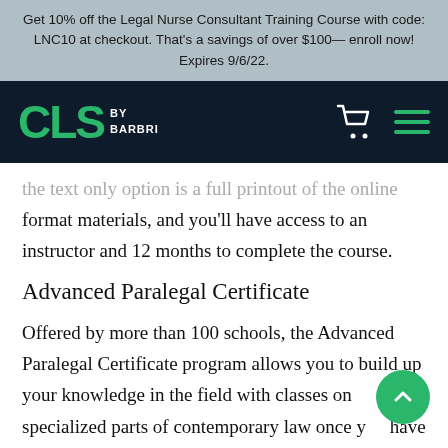Get 10% off the Legal Nurse Consultant Training Course with code: LNC10 at checkout. That's a savings of over $100— enroll now! Expires 9/6/22.
[Figure (logo): CLS by BARBRI logo in green on dark navy navigation bar with shopping cart and hamburger menu icons]
the text only option is a full printout of the online format materials, and you'll have access to an instructor and 12 months to complete the course.
Advanced Paralegal Certificate
Offered by more than 100 schools, the Advanced Paralegal Certificate program allows you to build up your knowledge in the field with classes on specialized parts of contemporary law once you have received your Paralegal Certificate. This will help you set yourself above the competition and